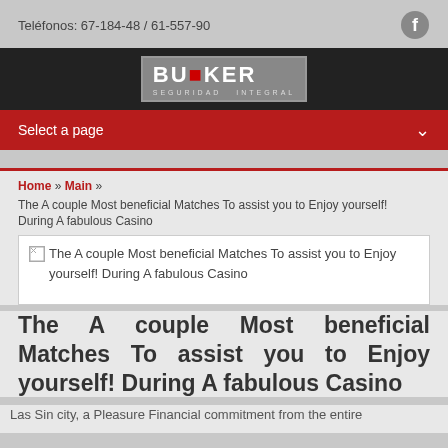Teléfonos: 67-184-48 / 61-557-90
[Figure (logo): BUNKER Seguridad Integral logo on dark background]
Select a page
Home » Main »
The A couple Most beneficial Matches To assist you to Enjoy yourself! During A fabulous Casino
[Figure (photo): Broken image placeholder with alt text: The A couple Most beneficial Matches To assist you to Enjoy yourself! During A fabulous Casino]
The A couple Most beneficial Matches To assist you to Enjoy yourself! During A fabulous Casino
Las Sin city, a Pleasure Financial commitment from the entire